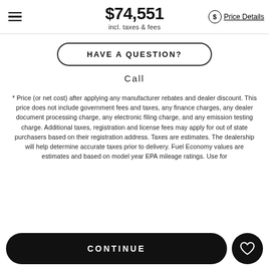$74,551 incl. taxes & fees | Price Details
HAVE A QUESTION?
Call
* Price (or net cost) after applying any manufacturer rebates and dealer discount. This price does not include government fees and taxes, any finance charges, any dealer document processing charge, any electronic filing charge, and any emission testing charge. Additional taxes, registration and license fees may apply for out of state purchasers based on their registration address. Taxes are estimates. The dealership will help determine accurate taxes prior to delivery. Fuel Economy values are estimates and based on model year EPA mileage ratings. Use for
CONTINUE